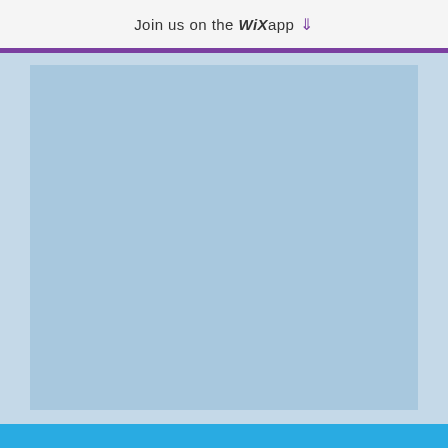Join us on the WiX app ↓
[Figure (screenshot): Mobile app screenshot placeholder — large blue-toned rectangular area with lighter inner panel, purple top bar, and cyan footer bar]